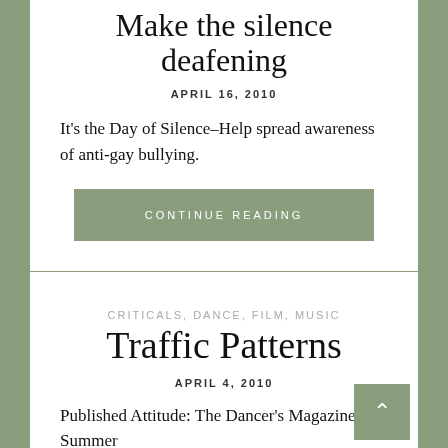Make the silence deafening
APRIL 16, 2010
It's the Day of Silence–Help spread awareness of anti-gay bullying.
CONTINUE READING
CRITICALS, DANCE, FILM, MUSIC
Traffic Patterns
APRIL 4, 2010
Published Attitude: The Dancer's Magazine Summer